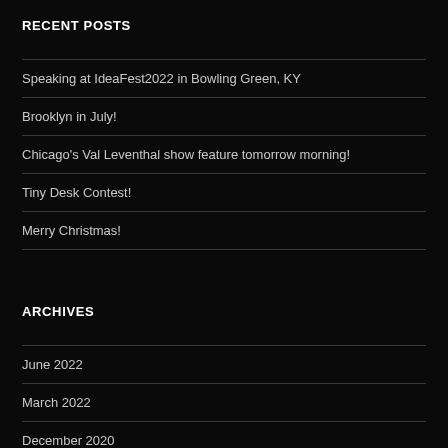RECENT POSTS
Speaking at IdeaFest2022 in Bowling Green, KY
Brooklyn in July!
Chicago's Val Leventhal show feature tomorrow morning!
Tiny Desk Contest!
Merry Christmas!
ARCHIVES
June 2022
March 2022
December 2020